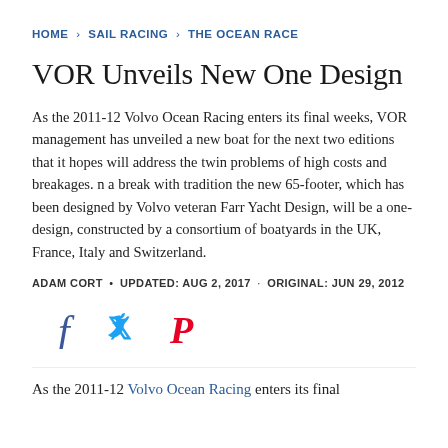HOME › SAIL RACING › THE OCEAN RACE
VOR Unveils New One Design
As the 2011-12 Volvo Ocean Racing enters its final weeks, VOR management has unveiled a new boat for the next two editions that it hopes will address the twin problems of high costs and breakages. n a break with tradition the new 65-footer, which has been designed by Volvo veteran Farr Yacht Design, will be a one-design, constructed by a consortium of boatyards in the UK, France, Italy and Switzerland.
ADAM CORT • UPDATED: AUG 2, 2017 · ORIGINAL: JUN 29, 2012
[Figure (other): Social media share icons: Facebook (f), Twitter (bird), Pinterest (P)]
As the 2011-12 Volvo Ocean Racing enters its final